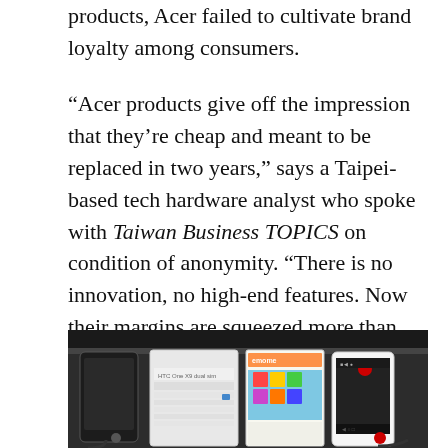products, Acer failed to cultivate brand loyalty among consumers.
“Acer products give off the impression that they’re cheap and meant to be replaced in two years,” says a Taipei-based tech hardware analyst who spoke with Taiwan Business TOPICS on condition of anonymity. “There is no innovation, no high-end features. Now their margins are squeezed more than ever because shipment volume is down.”
[Figure (photo): Photo of smartphones on display stands in a retail store, showing HTC One X9 dual sim and other devices with marketing materials behind them.]